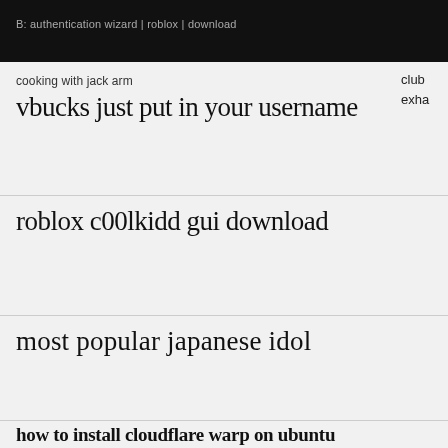B: authentication wizard | roblox | download
cooking with jack arm
club
exha
vbucks just put in your username
roblox c00lkidd gui download
most popular japanese idol
how to install cloudflare warp on ubuntu